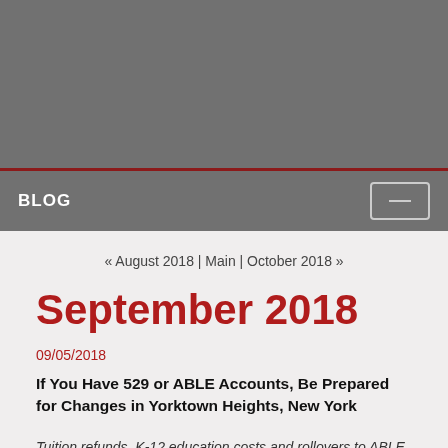[Figure (other): Gray header banner area at top of page]
BLOG
« August 2018 | Main | October 2018 »
September 2018
09/05/2018
If You Have 529 or ABLE Accounts, Be Prepared for Changes in Yorktown Heights, New York
Tuition refunds, K-12 education costs and rollovers to ABLE